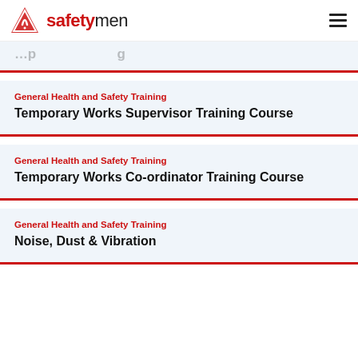safetymen
General Health and Safety Training — Temporary Works Supervisor Training Course (partial, top)
General Health and Safety Training
Temporary Works Supervisor Training Course
General Health and Safety Training
Temporary Works Co-ordinator Training Course
General Health and Safety Training
Noise, Dust & Vibration